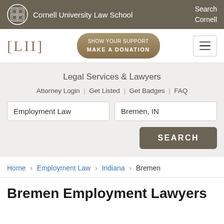Cornell University Law School | Search Cornell
[Figure (logo): LII Legal Information Institute logo with [LII] bracket text]
SHOW YOUR SUPPORT
MAKE A DONATION
Legal Services & Lawyers
Attorney Login | Get Listed | Get Badges | FAQ
Employment Law | Bremen, IN | SEARCH
Home › Employment Law › Indiana › Bremen
Bremen Employment Lawyers